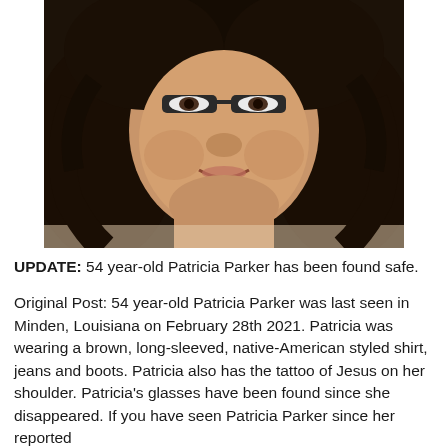[Figure (photo): Close-up photo of a middle-aged woman with dark curly hair and dark-rimmed glasses, smiling slightly. She appears to be Patricia Parker.]
UPDATE: 54 year-old Patricia Parker has been found safe.
Original Post: 54 year-old Patricia Parker was last seen in Minden, Louisiana on February 28th 2021. Patricia was wearing a brown, long-sleeved, native-American styled shirt, jeans and boots. Patricia also has the tattoo of Jesus on her shoulder. Patricia's glasses have been found since she disappeared. If you have seen Patricia Parker since her reported